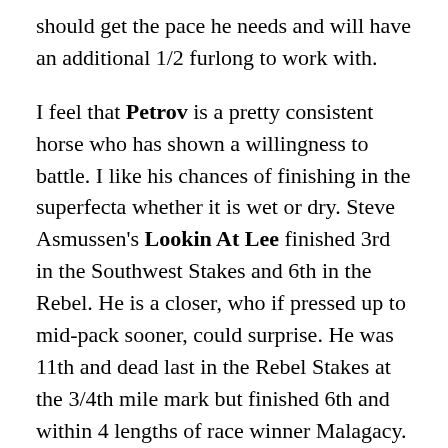should get the pace he needs and will have an additional 1/2 furlong to work with.
I feel that Petrov is a pretty consistent horse who has shown a willingness to battle. I like his chances of finishing in the superfecta whether it is wet or dry. Steve Asmussen's Lookin At Lee finished 3rd in the Southwest Stakes and 6th in the Rebel. He is a closer, who if pressed up to mid-pack sooner, could surprise. He was 11th and dead last in the Rebel Stakes at the 3/4th mile mark but finished 6th and within 4 lengths of race winner Malagacy.
Conquest Mo Money is coming off a second place finish in the Sunland Derby. Grandpa's